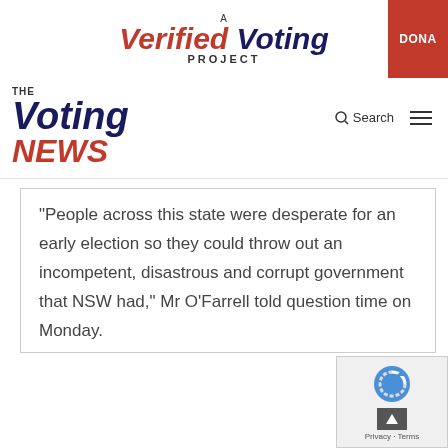[Figure (logo): A Verified Voting Project logo with red and navy blue italic text, and a red DONATE button on the right]
[Figure (logo): The Voting News logo with navy blue 'Voting' and red 'NEWS' italic text, with a Search icon and hamburger menu on the right]
“People across this state were desperate for an early election so they could throw out an incompetent, disastrous and corrupt government that NSW had,” Mr O’Farrell told question time on Monday.
[Figure (logo): reCAPTCHA widget with Privacy and Terms links and a scroll-up arrow button]